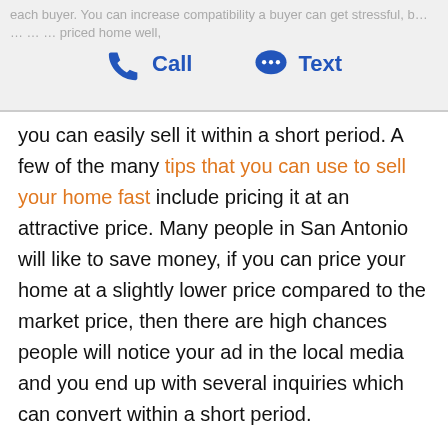Call  Text
you can easily sell it within a short period. A few of the many tips that you can use to sell your home fast include pricing it at an attractive price. Many people in San Antonio will like to save money, if you can price your home at a slightly lower price compared to the market price, then there are high chances people will notice your ad in the local media and you end up with several inquiries which can convert within a short period.
2. Use Yard Signs to let people know about the offer
There are homes in San Antonio where owners